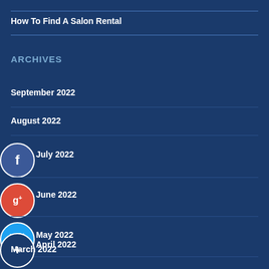How To Find A Salon Rental
ARCHIVES
September 2022
August 2022
July 2022
June 2022
May 2022
April 2022
March 2022